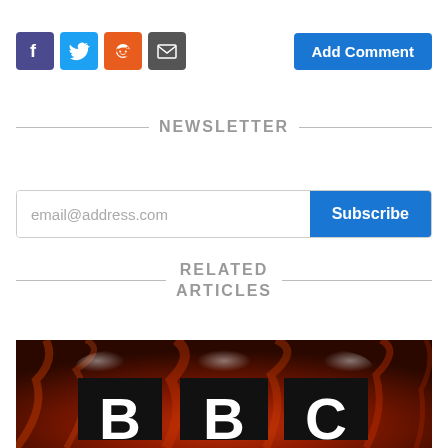[Figure (other): Social share buttons: Facebook (purple), Twitter (blue), Reddit (orange), Email (dark grey), and an Add Comment button (blue) on the right]
NEWSLETTER
[Figure (other): Email newsletter signup field with placeholder 'email@address.com' and a blue Subscribe button]
RELATED ARTICLES
[Figure (photo): BBC logo tiles on a fiery red and dark background showing letters B, B, C in white on black squares]